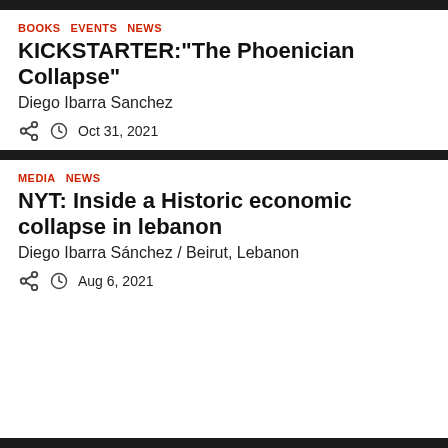BOOKS   EVENTS   NEWS
KICKSTARTER:"The Phoenician Collapse"
Diego Ibarra Sanchez
Oct 31, 2021
MEDIA   NEWS
NYT: Inside a Historic economic collapse in lebanon
Diego Ibarra Sánchez / Beirut, Lebanon
Aug 6, 2021